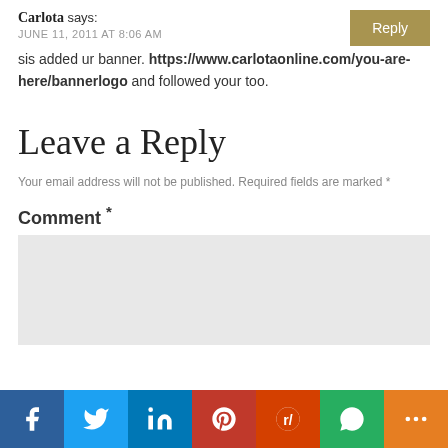Carlota says:
JUNE 11, 2011 AT 8:06 AM
sis added ur banner. https://www.carlotaonline.com/you-are-here/bannerlogo and followed your too.
Leave a Reply
Your email address will not be published. Required fields are marked *
Comment *
[Figure (other): Social sharing bar with icons for Facebook, Twitter, LinkedIn, Pinterest, Reddit, WhatsApp, and More]